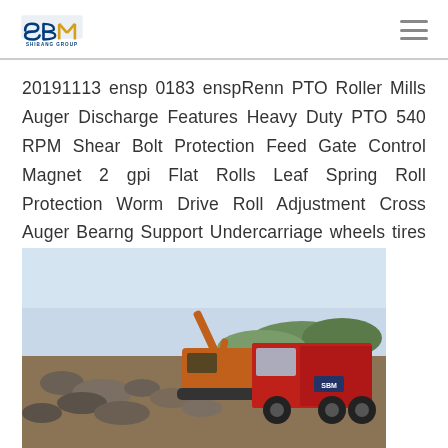SBM SHIBANG GROUP logo and navigation
20191113 ensp 0183 enspRenn PTO Roller Mills Auger Discharge Features Heavy Duty PTO 540 RPM Shear Bolt Protection Feed Gate Control Magnet 2 gpi Flat Rolls Leaf Spring Roll Protection Worm Drive Roll Adjustment Cross Auger Bearng Support Undercarriage wheels tires amp jack
[Figure (photo): Construction site with an orange excavator loading rocks into a red dump truck, with rocky terrain and trees in background]